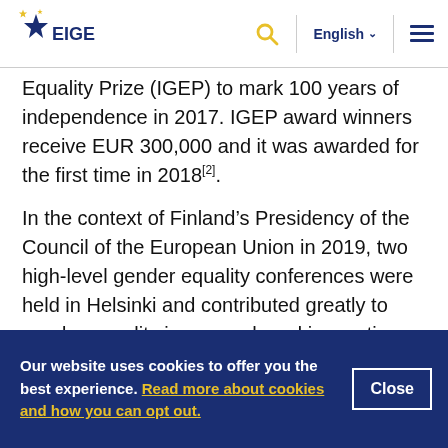EIGE logo, Search, English, Menu
Equality Prize (IGEP) to mark 100 years of independence in 2017. IGEP award winners receive EUR 300,000 and it was awarded for the first time in 2018[2].
In the context of Finland’s Presidency of the Council of the European Union in 2019, two high-level gender equality conferences were held in Helsinki and contributed greatly to gender equality in research and innovation (R&I). The MSAH
Our website uses cookies to offer you the best experience. Read more about cookies and how you can opt out.